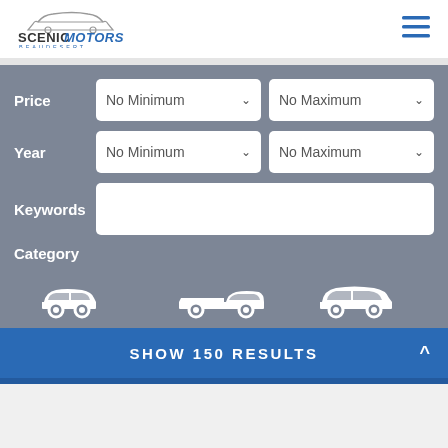[Figure (logo): Scenic Motors Beaudesert car dealership logo with car silhouette outline above text]
[Figure (illustration): Hamburger menu icon with three horizontal blue lines]
Price
No Minimum (dropdown)
No Maximum (dropdown)
Year
No Minimum (dropdown)
No Maximum (dropdown)
Keywords
Category
[Figure (illustration): Three white car silhouette icons: station wagon/hatchback, pickup truck, and SUV/crossover]
SHOW 150 RESULTS